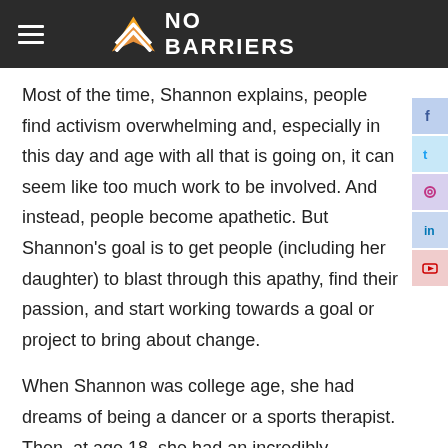NO BARRIERS
Most of the time, Shannon explains, people find activism overwhelming and, especially in this day and age with all that is going on, it can seem like too much work to be involved. And instead, people become apathetic. But Shannon's goal is to get people (including her daughter) to blast through this apathy, find their passion, and start working towards a goal or project to bring about change.
When Shannon was college age, she had dreams of being a dancer or a sports therapist. Then, at age 18, she had an incredibly traumatic life-altering experience when she was raped and nearly killed. This